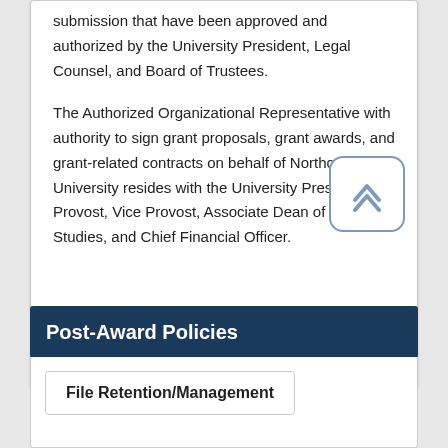submission that have been approved and authorized by the University President, Legal Counsel, and Board of Trustees.
The Authorized Organizational Representative with authority to sign grant proposals, grant awards, and grant-related contracts on behalf of Northcentral University resides with the University President, Provost, Vice Provost, Associate Dean of Graduate Studies, and Chief Financial Officer.
Post-Award Policies
File Retention/Management